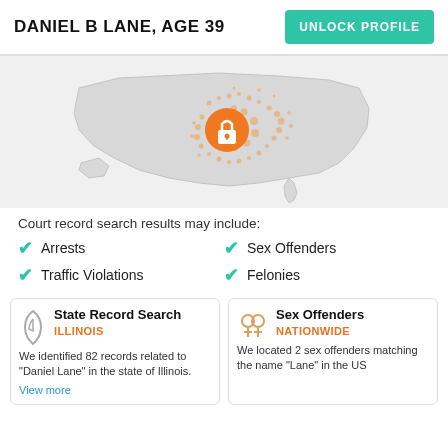DANIEL B LANE, AGE 39
UNLOCK PROFILE
[Figure (map): Map of the United States with an orange dot/heat pattern in the midwest region and an orange lock icon in the center of the highlighted area]
Court record search results may include:
Arrests
Sex Offenders
Traffic Violations
Felonies
State Record Search
ILLINOIS
We identified 82 records related to "Daniel Lane" in the state of Illinois.
Sex Offenders
NATIONWIDE
We located 2 sex offenders matching the name "Lane" in the US